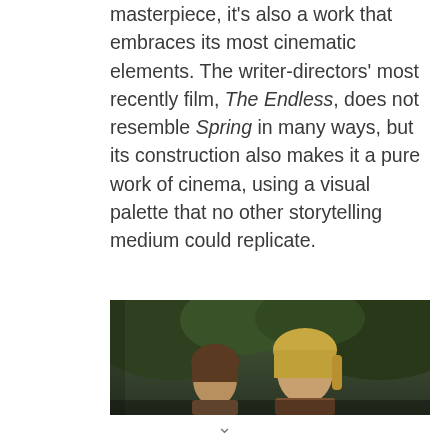masterpiece, it's also a work that embraces its most cinematic elements. The writer-directors' most recently film, The Endless, does not resemble Spring in many ways, but its construction also makes it a pure work of cinema, using a visual palette that no other storytelling medium could replicate.
[Figure (photo): A dark outdoor scene showing two people with foliage/trees in the background, cropped image showing heads/faces.]